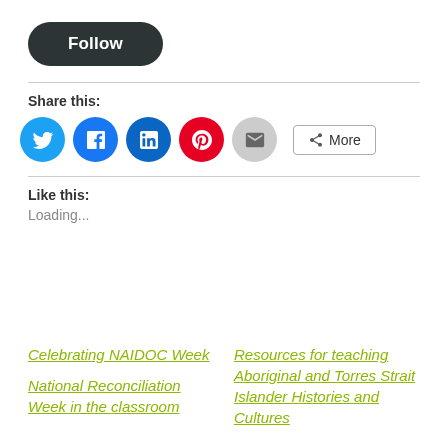[Figure (other): Dark rounded rectangle button labeled Follow]
Share this:
[Figure (infographic): Social sharing icons: Twitter (blue circle), Facebook (blue circle), LinkedIn (blue circle), Pinterest (red circle), Email (grey circle), and a More button]
Like this:
Loading...
Celebrating NAIDOC Week
Resources for teaching Aboriginal and Torres Strait Islander Histories and Cultures
National Reconciliation Week in the classroom